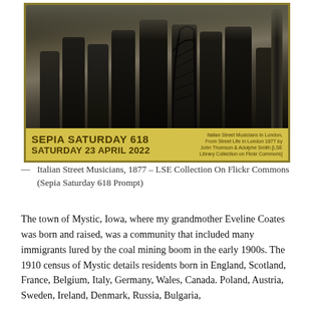[Figure (photo): Sepia Saturday 618 promotional image showing Italian Street Musicians in London, 1877. Black and white photograph of several men standing outdoors, one holding a large harp. Bottom banner reads 'SEPIA SATURDAY 618 SATURDAY 23 APRIL 2022' on a yellow/gold background with attribution text on the right.]
— Italian Street Musicians, 1877 – LSE Collection On Flickr Commons (Sepia Saturday 618 Prompt)
The town of Mystic, Iowa, where my grandmother Eveline Coates was born and raised, was a community that included many immigrants lured by the coal mining boom in the early 1900s. The 1910 census of Mystic details residents born in England, Scotland, France, Belgium, Italy, Germany, Wales, Canada. Poland, Austria, Sweden, Ireland, Denmark, Russia, Bulgaria,